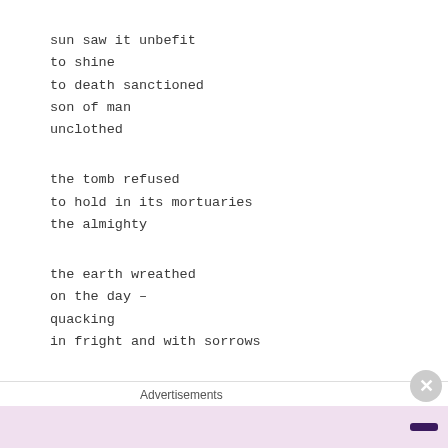sun saw it unbefit
to shine
to death sanctioned
son of man
unclothed
the tomb refused
to hold in its mortuaries
the almighty
the earth wreathed
on the day –
quacking
in fright and with sorrows
and death –
no odd,
hangs there awhile in regrets –
Advertisements